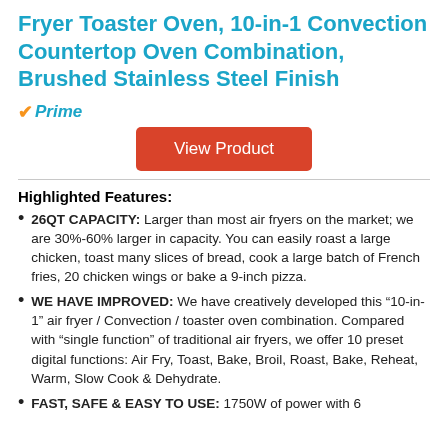Fryer Toaster Oven, 10-in-1 Convection Countertop Oven Combination, Brushed Stainless Steel Finish
[Figure (logo): Amazon Prime checkmark logo with 'Prime' text in teal italic]
[Figure (other): Red 'View Product' button]
Highlighted Features:
26QT CAPACITY: Larger than most air fryers on the market; we are 30%-60% larger in capacity. You can easily roast a large chicken, toast many slices of bread, cook a large batch of French fries, 20 chicken wings or bake a 9-inch pizza.
WE HAVE IMPROVED: We have creatively developed this “10-in-1” air fryer / Convection / toaster oven combination. Compared with “single function” of traditional air fryers, we offer 10 preset digital functions: Air Fry, Toast, Bake, Broil, Roast, Bake, Reheat, Warm, Slow Cook & Dehydrate.
FAST, SAFE & EASY TO USE: 1750W of power with 6